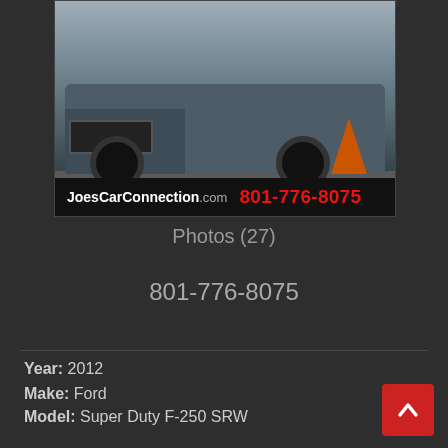[Figure (photo): Front view of a 2012 Ford Super Duty F-250 SRW pickup truck with an orange traffic cone in background, displayed on dealer listing]
JoesCarConnection.com  801-776-8075
Photos (27)
801-776-8075
Year: 2012
Make: Ford
Model: Super Duty F-250 SRW
Trim: 4WD SuperCab 158" XL
Fuel: Gasoline